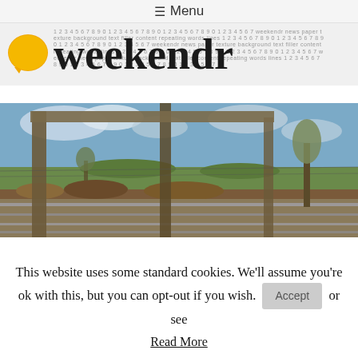☰ Menu
[Figure (logo): Weekendr website logo with orange speech-bubble icon and 'weekendr' text over a newspaper-texture background]
[Figure (photo): Outdoor photo of a rural countryside scene viewed through a wooden and metal gate/fence structure, with trees, hedgerows, and a cloudy blue sky in the background]
This website uses some standard cookies. We'll assume you're ok with this, but you can opt-out if you wish. Accept or see Read More